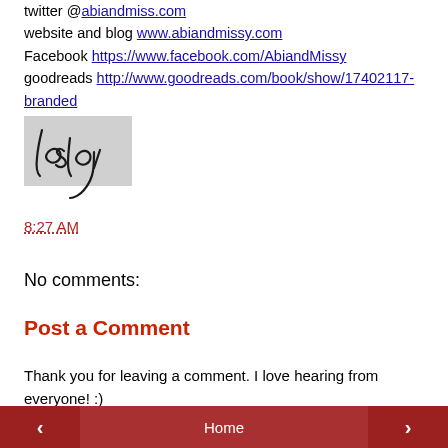twitter @abiandmiss.com
website and blog www.abiandmissy.com
Facebook https://www.facebook.com/AbiandMissy
goodreads http://www.goodreads.com/book/show/17402117-branded
[Figure (illustration): Handwritten cursive signature reading 'Lesley' on a light gray background]
8:27 AM
No comments:
Post a Comment
Thank you for leaving a comment. I love hearing from everyone! :)
◄  Home  ►